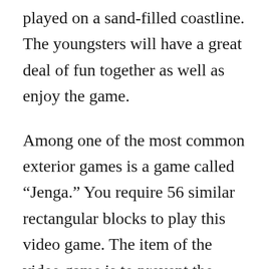played on a sand-filled coastline. The youngsters will have a great deal of fun together as well as enjoy the game.
Among one of the most common exterior games is a game called “Jenga.” You require 56 similar rectangular blocks to play this video game. The item of the video game is to prevent the tower from boiling down, so you can keep it upright. The numbers of each team member will certainly differ, so you